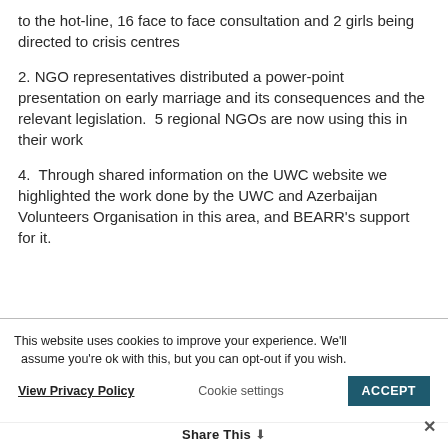to the hot-line, 16 face to face consultation and 2 girls being directed to crisis centres
2. NGO representatives distributed a power-point presentation on early marriage and its consequences and the relevant legislation.  5 regional NGOs are now using this in their work
4.  Through shared information on the UWC website we highlighted the work done by the UWC and Azerbaijan Volunteers Organisation in this area, and BEARR's support for it.
This website uses cookies to improve your experience. We'll assume you're ok with this, but you can opt-out if you wish.
View Privacy Policy   Cookie settings   ACCEPT
Share This